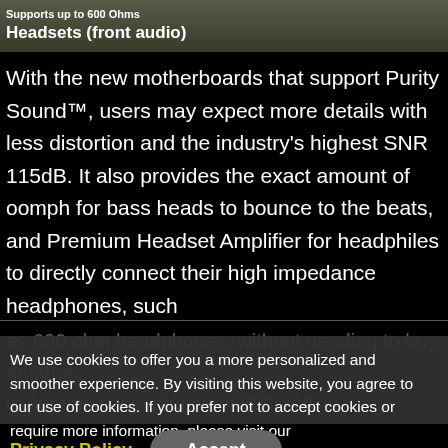Supports up to 600 Ohms
Headsets (front audio)
With the new motherboards that support Purity Sound™, users may expect more details with less distortion and the industry's highest SNR 115dB. It also provides the exact amount of oomph for bass heads to bounce to the beats, and Premium Headset Amplifier for headphiles to directly connect their high impedance headphones, such
as 600 ohm headphones, without needing to buy another experience. experience of 600 and
We use cookies to offer you a more personalized and smoother experience. By visiting this website, you agree to our use of cookies. If you prefer not to accept cookies or require more information, please visit our
Privacy Policy.
Accept